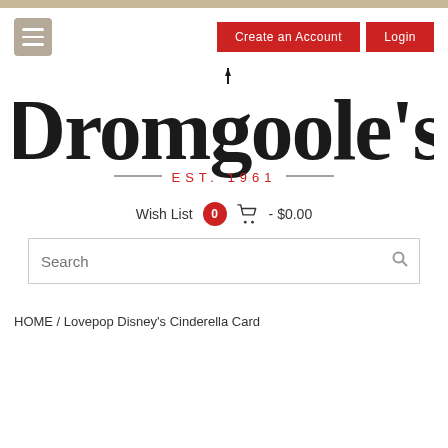[Figure (logo): Dromgoole's store logo with serif text and EST. 1961 tagline]
Wish List  0  - $0.00
Search
HOME / Lovepop Disney's Cinderella Card